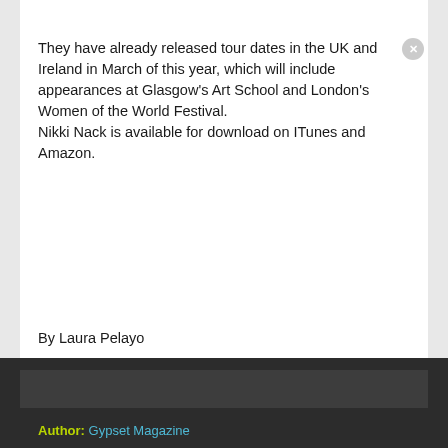[Figure (photo): Top image strip showing partial image, captioned 'Pelayo for Gypset Magazine']
They have already released tour dates in the UK and Ireland in March of this year, which will include appearances at Glasgow's Art School and London's Women of the World Festival.
Nikki Nack is available for download on ITunes and Amazon.
By Laura Pelayo
[Figure (photo): Dark footer area with author image placeholder]
Author: Gypset Magazine